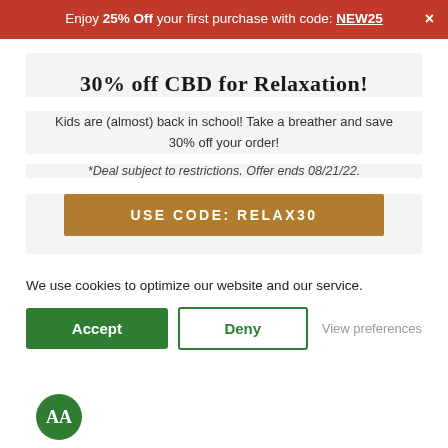Enjoy 25% Off your first purchase with code: NEW25  ×
30% off CBD for Relaxation!
Kids are (almost) back in school! Take a breather and save 30% off your order!
*Deal subject to restrictions. Offer ends 08/21/22.
USE CODE: RELAX30
We use cookies to optimize our website and our service.
Accept
Deny
View preferences